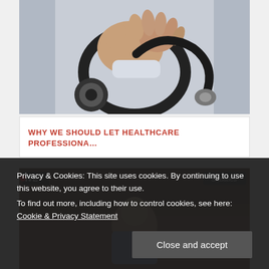[Figure (photo): Close-up of a doctor's hands holding a stethoscope, wearing a white coat. Dark stethoscope with shiny metal head visible.]
WHY WE SHOULD LET HEALTHCARE PROFESSIONA…
[Figure (screenshot): Screenshot of a live broadcast or news stream. 'IVE' label in top left corner and 'Subtitles' button in top right. A person visible in the frame.]
Privacy & Cookies: This site uses cookies. By continuing to use this website, you agree to their use.
To find out more, including how to control cookies, see here: Cookie & Privacy Statement